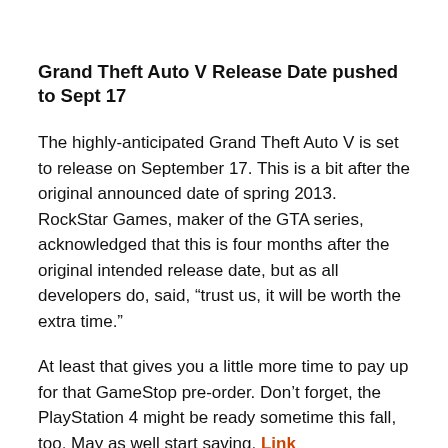Grand Theft Auto V Release Date pushed to Sept 17
The highly-anticipated Grand Theft Auto V is set to release on September 17. This is a bit after the original announced date of spring 2013. RockStar Games, maker of the GTA series, acknowledged that this is four months after the original intended release date, but as all developers do, said, “trust us, it will be worth the extra time.”
At least that gives you a little more time to pay up for that GameStop pre-order. Don’t forget, the PlayStation 4 might be ready sometime this fall, too. May as well start saving. Link
Don’t Expect a Wii U Price Cut